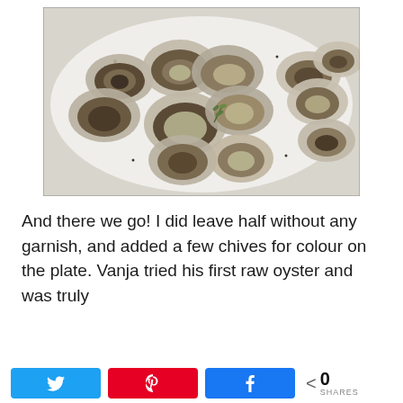[Figure (photo): A white plate topped with numerous raw oysters on the half shell, some garnished with a light topping (possibly butter/garlic), arranged with a sprig of rosemary. The oysters are spread across the plate on what appears to be a white surface.]
And there we go! I did leave half without any garnish, and added a few chives for colour on the plate. Vanja tried his first raw oyster and was truly
[Figure (other): Social share bar with Twitter (blue), Pinterest (red), and Facebook (blue) share buttons, and a share count showing 0 SHARES]